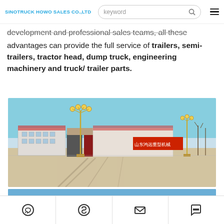SINOTRUCK HOWO SALES CO.,LTD — keyword search bar — menu
development and professional sales teams, all these advantages can provide the full service of trailers, semi-trailers, tractor head, dump truck, engineering machinery and truck/ trailer parts.
[Figure (photo): Exterior photo of a factory/company compound in winter with bare trees, gold decorative street lamps, a wide concrete yard, and Chinese signage on red building reading 山东鸿远重型机械]
[Figure (photo): Partially visible second photo of facility with blue sky, cropped at page bottom, with Chinese text visible at bottom edge]